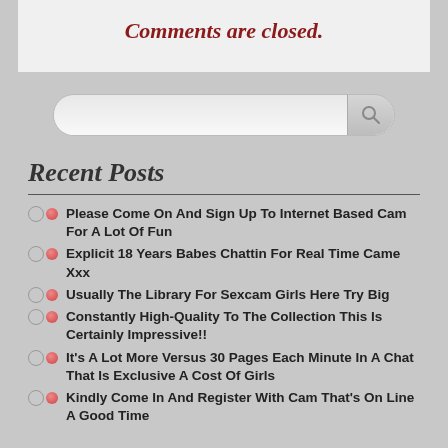Comments are closed.
[Figure (other): Search bar input field with search button icon]
Recent Posts
Please Come On And Sign Up To Internet Based Cam For A Lot Of Fun
Explicit 18 Years Babes Chattin For Real Time Came Xxx
Usually The Library For Sexcam Girls Here Try Big
Constantly High-Quality To The Collection This Is Certainly Impressive!!
It's A Lot More Versus 30 Pages Each Minute In A Chat That Is Exclusive A Cost Of Girls
Kindly Come In And Register With Cam That's On Line A Good Time